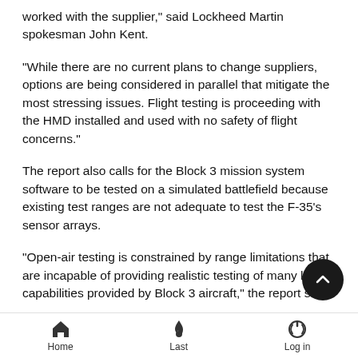worked with the supplier," said Lockheed Martin spokesman John Kent.
"While there are no current plans to change suppliers, options are being considered in parallel that mitigate the most stressing issues. Flight testing is proceeding with the HMD installed and used with no safety of flight concerns."
The report also calls for the Block 3 mission system software to be tested on a simulated battlefield because existing test ranges are not adequate to test the F-35's sensor arrays.
"Open-air testing is constrained by range limitations that are incapable of providing realistic testing of many key capabilities provided by Block 3 aircraft," the report says.
The report also calls for the aircraft's On-Board Inert Gas Generations System, which generates inert gases to prevent
Home   Last   Log in